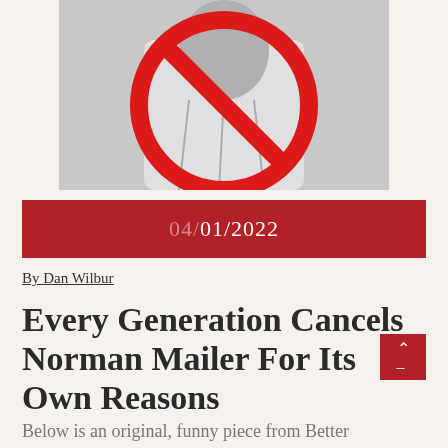[Figure (photo): Black and white photo of a man in a white shirt with a red 'no' symbol (circle with diagonal line) overlaid on it]
04/01/2022
By Dan Wilbur
Every Generation Cancels Norman Mailer For Its Own Reasons
Below is an original, funny piece from Better